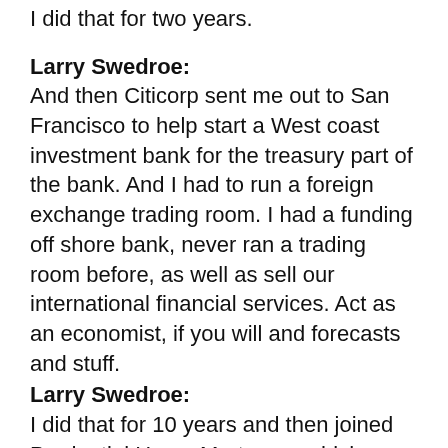I did that for two years.
Larry Swedroe:
And then Citicorp sent me out to San Francisco to help start a West coast investment bank for the treasury part of the bank. And I had to run a foreign exchange trading room. I had a funding off shore bank, never ran a trading room before, as well as sell our international financial services. Act as an economist, if you will and forecasts and stuff.
Larry Swedroe:
I did that for 10 years and then joined Prudential Home Mortgage, which eventually became the largest mortgage company in the country. So, I was now involved with managing credit risk and interest rate risk for the largest mortgage company. And then I joined Buckingham to help individual investors. I joined up with a group of people who were financial planners